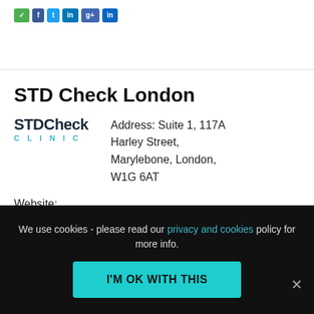[Figure (other): Social share buttons row (green and blue buttons)]
STD Check London
[Figure (logo): STDCheck CLINIC logo — bold dark text with teal CLINIC lettering below]
Address: Suite 1, 117A Harley Street, Marylebone, London, W1G 6AT
Website:
We we use cookies - please read our privacy and cookies policy for more info.
I'M OK WITH THIS